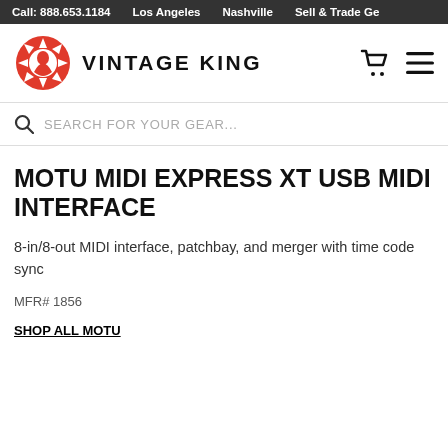Call: 888.653.1184   Los Angeles   Nashville   Sell & Trade Ge...
[Figure (logo): Vintage King logo — red stylized figure with rays]
VINTAGE KING
SEARCH FOR YOUR GEAR...
MOTU MIDI EXPRESS XT USB MIDI INTERFACE
8-in/8-out MIDI interface, patchbay, and merger with time code sync
MFR# 1856
SHOP ALL MOTU